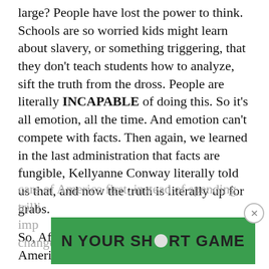large? People have lost the power to think. Schools are so worried kids might learn about slavery, or something triggering, that they don't teach students how to analyze, sift the truth from the dross. People are literally INCAPABLE of doing this. So it's all emotion, all the time. And emotion can't compete with facts. Then again, we learned in the last administration that facts are fungible, Kellyanne Conway literally told us that, and now the truth is literally up for grabs.
So, Afghanistan is really far away. Many Americans hate Muslims in principle. People are hurting so much that they want to take care of America first, instead of spending trilli... impr... change and so much more. The young care
[Figure (other): Green advertisement banner overlay reading 'N YOUR SH●RT GAME' with a circular close (×) button on the right side]